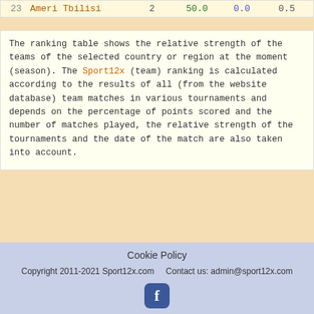| # | Team | Matches | Win% | Draw% | Points |
| --- | --- | --- | --- | --- | --- |
| 23 | Ameri Tbilisi | 2 | 50.0 | 0.0 | 0.5 |
The ranking table shows the relative strength of the teams of the selected country or region at the moment (season). The Sport12x (team) ranking is calculated according to the results of all (from the website database) team matches in various tournaments and depends on the percentage of points scored and the number of matches played, the relative strength of the tournaments and the date of the match are also taken into account.
Cookie Policy
Copyright 2011-2021 Sport12x.com   Contact us: admin@sport12x.com